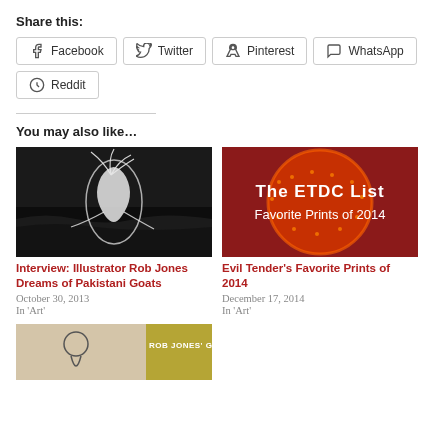Share this:
Facebook
Twitter
Pinterest
WhatsApp
Reddit
You may also like…
[Figure (photo): Black and white photo of a person in a flowing white dress being blown by wind near ocean waves]
Interview: Illustrator Rob Jones Dreams of Pakistani Goats
October 30, 2013
In 'Art'
[Figure (photo): Red/orange textured background with white text reading 'The ETDC List Favorite Prints of 2014']
Evil Tender's Favorite Prints of 2014
December 17, 2014
In 'Art'
[Figure (photo): Partial view of a third article card with beige/tan and yellow-green background with text 'ROB JONES' G...']